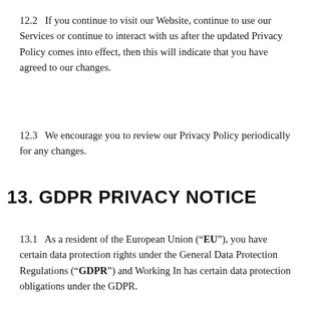12.2   If you continue to visit our Website, continue to use our Services or continue to interact with us after the updated Privacy Policy comes into effect, then this will indicate that you have agreed to our changes.
12.3   We encourage you to review our Privacy Policy periodically for any changes.
13. GDPR PRIVACY NOTICE
13.1   As a resident of the European Union (“EU”), you have certain data protection rights under the General Data Protection Regulations (“GDPR”) and Working In has certain data protection obligations under the GDPR.